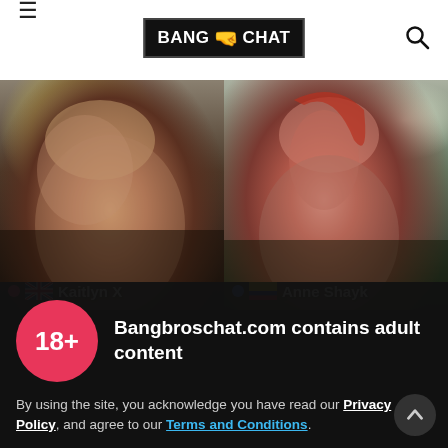BangBros Chat
[Figure (photo): Two webcam model thumbnails side by side: left shows Kaitlyn X (UK flag), right shows Anne Shayk (Colombia flag)]
18+
Bangbroschat.com contains adult content
By using the site, you acknowledge you have read our Privacy Policy, and agree to our Terms and Conditions.
We use cookies to optimize your experience, analyze traffic, and deliver more personalized service. To learn more, please see our Privacy Policy.
I AGREE